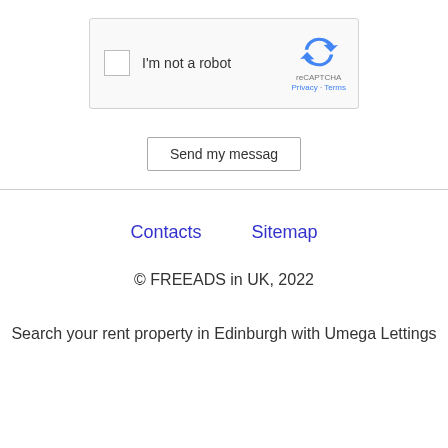[Figure (screenshot): reCAPTCHA widget with checkbox labeled 'I'm not a robot' and reCAPTCHA branding with recycling arrow icon, Privacy and Terms links]
Send my messag
Contacts   Sitemap
© FREEADS in UK, 2022
Search your rent property in Edinburgh with Umega Lettings